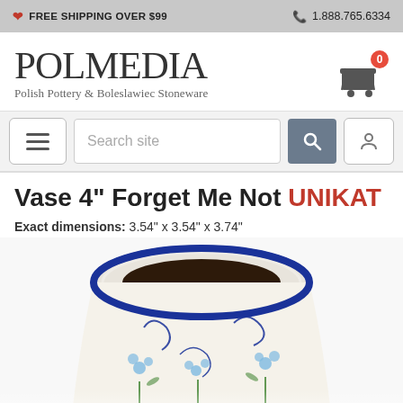FREE SHIPPING OVER $99   1.888.765.6334
POLMEDIA
Polish Pottery & Boleslawiec Stoneware
Search site
Vase 4" Forget Me Not UNIKAT
Exact dimensions: 3.54" x 3.54" x 3.74"
[Figure (photo): Top-down view of a Polish pottery vase with blue floral Forget Me Not UNIKAT pattern on white stoneware, showing the open mouth and decorated body of the vase.]